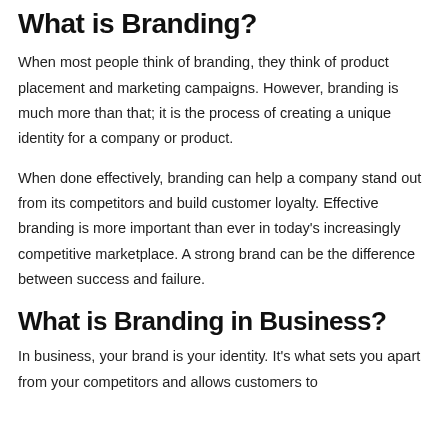What is Branding?
When most people think of branding, they think of product placement and marketing campaigns. However, branding is much more than that; it is the process of creating a unique identity for a company or product.
When done effectively, branding can help a company stand out from its competitors and build customer loyalty. Effective branding is more important than ever in today's increasingly competitive marketplace. A strong brand can be the difference between success and failure.
What is Branding in Business?
In business, your brand is your identity. It's what sets you apart from your competitors and allows customers to...